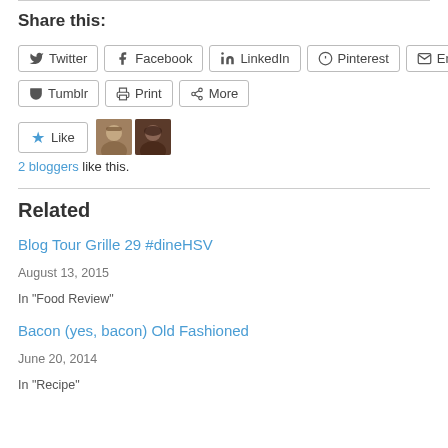Share this:
Twitter
Facebook
LinkedIn
Pinterest
Email
Tumblr
Print
More
2 bloggers like this.
Related
Blog Tour Grille 29 #dineHSV
August 13, 2015
In "Food Review"
Bacon (yes, bacon) Old Fashioned
June 20, 2014
In "Recipe"